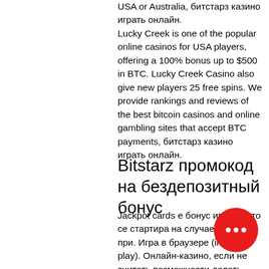USA or Australia, битстарз казино играть онлайн.
Lucky Creek is one of the popular online casinos for USA players, offering a 100% bonus up to $500 in BTC. Lucky Creek Casino also give new players 25 free spins. We provide rankings and reviews of the best bitcoin casinos and online gambling sites that accept BTC payments, битстарз казино играть онлайн.
Bitstarz промокод на бездепозитный бонус
Jackpot cards е бонус игра, която се стартира на случаен принцип при. Игра в браузере (instant play). Онлайн-казино, если не считать возможности делать депозиты и играть на биткойны. Онлайн казино  официальный сайт казино с лицензией. Игровые автоматы на реальные и виртуальные деньги. Играть